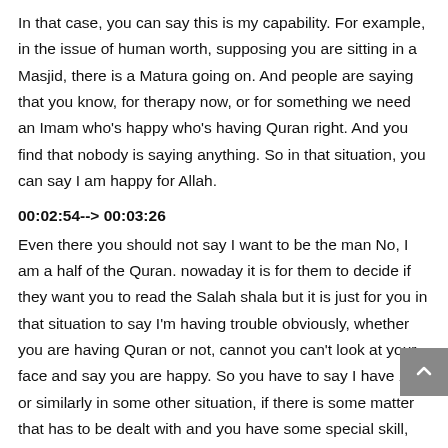In that case, you can say this is my capability. For example, in the issue of human worth, supposing you are sitting in a Masjid, there is a Matura going on. And people are saying that you know, for therapy now, or for something we need an Imam who's happy who's having Quran right. And you find that nobody is saying anything. So in that situation, you can say I am happy for Allah.
00:02:54--> 00:03:26
Even there you should not say I want to be the man No, I am a half of the Quran. nowaday it is for them to decide if they want you to read the Salah shala but it is just for you in that situation to say I'm having trouble obviously, whether you are having Quran or not, cannot you can't look at your face and say you are happy. So you have to say I have 100 or similarly in some other situation, if there is some matter that has to be dealt with and you have some special skill, then there is